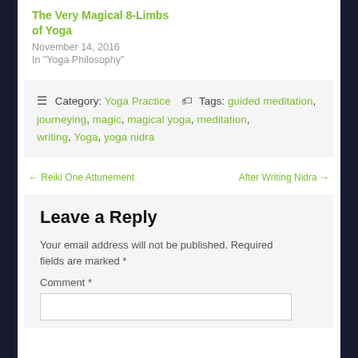The Very Magical 8-Limbs of Yoga
November 14, 2016
In "Yoga Philosophy"
☰ Category: Yoga Practice 🏷 Tags: guided meditation, journeying, magic, magical yoga, meditation, writing, Yoga, yoga nidra
← Reiki One Attunement
After Writing Nidra →
Leave a Reply
Your email address will not be published. Required fields are marked *
Comment *